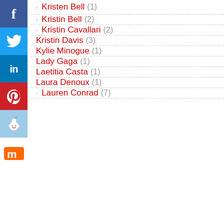Kristin Bell (2)
Kristin Cavallari (2)
Kristin Davis (3)
Kylie Minogue (1)
Lady Gaga (1)
Laetitia Casta (1)
Laura Denoux (1)
Lauren Conrad (7)